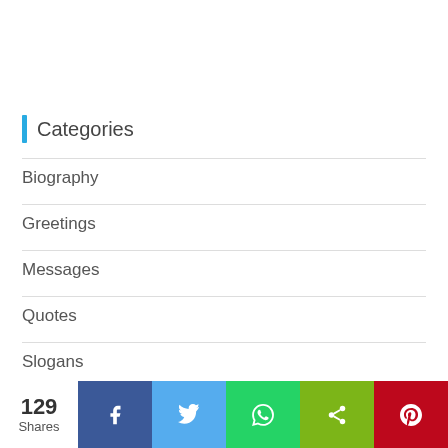Categories
Biography
Greetings
Messages
Quotes
Slogans
Taglines
Uncategorized
129 Shares